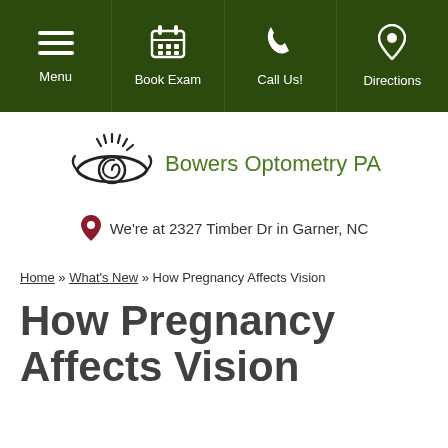Menu | Book Exam | Call Us! | Directions
[Figure (logo): Bowers Optometry PA logo with stylized eye illustration and green text]
We're at 2327 Timber Dr in Garner, NC
Home » What's New » How Pregnancy Affects Vision
How Pregnancy Affects Vision